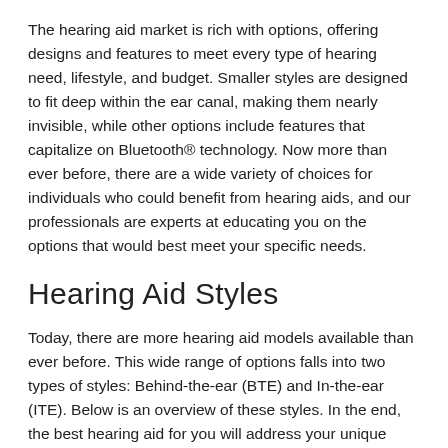The hearing aid market is rich with options, offering designs and features to meet every type of hearing need, lifestyle, and budget. Smaller styles are designed to fit deep within the ear canal, making them nearly invisible, while other options include features that capitalize on Bluetooth® technology. Now more than ever before, there are a wide variety of choices for individuals who could benefit from hearing aids, and our professionals are experts at educating you on the options that would best meet your specific needs.
Hearing Aid Styles
Today, there are more hearing aid models available than ever before. This wide range of options falls into two types of styles: Behind-the-ear (BTE) and In-the-ear (ITE). Below is an overview of these styles. In the end, the best hearing aid for you will address your unique hearing ability, lifestyle, and budget